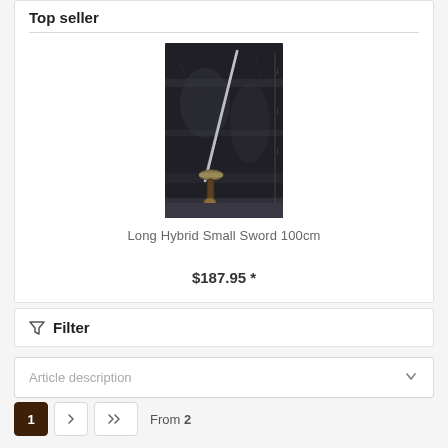Top seller
[Figure (photo): A long hybrid small sword approximately 100cm, photographed against a dark background, showing a slender blade and decorative guard.]
Long Hybrid Small Sword 100cm
$187.95 *
Filter
Article description
1  >  >>  From 2